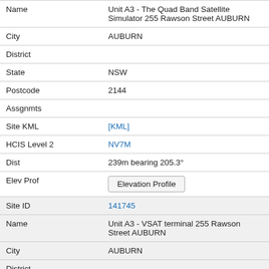| Name | Unit A3 - The Quad Band Satellite Simulator 255 Rawson Street AUBURN |
| City | AUBURN |
| District |  |
| State | NSW |
| Postcode | 2144 |
| Assgnmts |  |
| Site KML | [KML] |
| HCIS Level 2 | NV7M |
| Dist | 239m bearing 205.3° |
| Elev Prof | Elevation Profile |
| Site ID | 141745 |
| Name | Unit A3 - VSAT terminal 255 Rawson Street AUBURN |
| City | AUBURN |
| District |  |
| State | NSW |